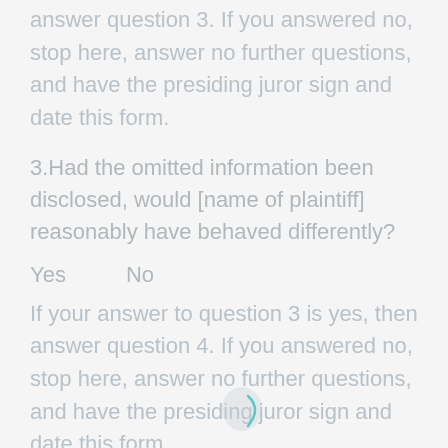answer question 3. If you answered no, stop here, answer no further questions, and have the presiding juror sign and date this form.
3.Had the omitted information been disclosed, would [name of plaintiff] reasonably have behaved differently?
Yes        No
If your answer to question 3 is yes, then answer question 4. If you answered no, stop here, answer no further questions, and have the presiding juror sign and date this form.